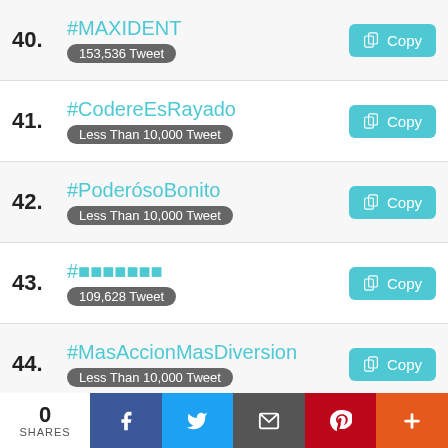40. #MAXIDENT — 153,536 Tweet
41. #CodereEsRayado — Less Than 10,000 Tweet
42. #PoderósoBonito — Less Than 10,000 Tweet
43. #日本語テキスト — 109,628 Tweet
44. #MasAccionMasDiversion — Less Than 10,000 Tweet
45. #CumpleElRetoKim8 — Less Than 10,000 Tweet
46. #5DeSeptiembre
0 SHARES | Facebook | Twitter | Email | Pinterest | More